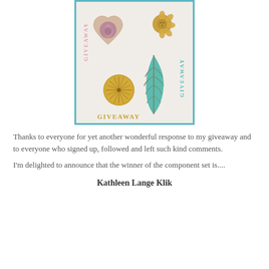[Figure (photo): Giveaway image showing four decorative jewelry components: a heart-shaped ceramic piece with purple rose, a gold flower charm, a gold circular sunburst disc, and a teal/copper leaf pendant. 'GIVEAWAY' text appears in gold at the bottom and in teal vertically on the right side. Image has a teal border.]
Thanks to everyone for yet another wonderful response to my giveaway and to everyone who signed up, followed and left such kind comments.
I'm delighted to announce that the winner of the component set is....
Kathleen Lange Klik